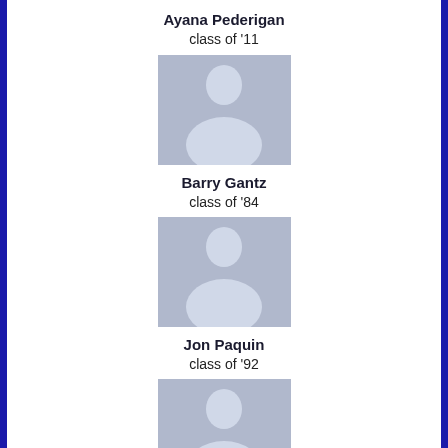Ayana Pederigan
class of '11
[Figure (illustration): Generic placeholder avatar silhouette for Barry Gantz]
Barry Gantz
class of '84
[Figure (illustration): Generic placeholder avatar silhouette for Jon Paquin]
Jon Paquin
class of '92
[Figure (illustration): Generic placeholder avatar silhouette for Chris Paganoni]
Chris Paganoni
class of '86